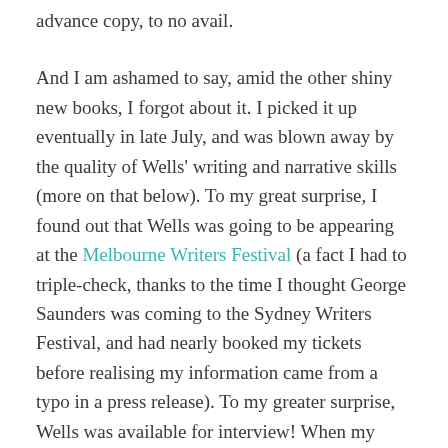advance copy, to no avail.
And I am ashamed to say, amid the other shiny new books, I forgot about it. I picked it up eventually in late July, and was blown away by the quality of Wells' writing and narrative skills (more on that below). To my great surprise, I found out that Wells was going to be appearing at the Melbourne Writers Festival (a fact I had to triple-check, thanks to the time I thought George Saunders was coming to the Sydney Writers Festival, and had nearly booked my tickets before realising my information came from a typo in a press release). To my greater surprise, Wells was available for interview! When my good buddy Angela threw this info my way, I jumped at the chance to catch up with the author of my favourite short story collection of the past five years.